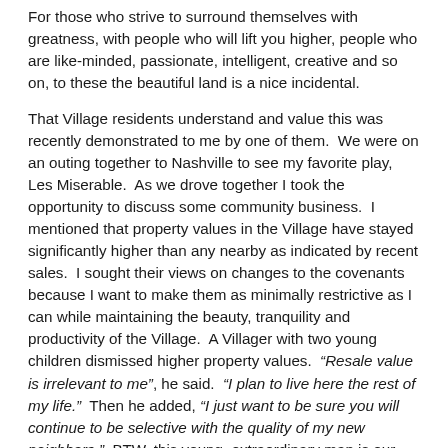For those who strive to surround themselves with greatness, with people who will lift you higher, people who are like-minded, passionate, intelligent, creative and so on, to these the beautiful land is a nice incidental.
That Village residents understand and value this was recently demonstrated to me by one of them.  We were on an outing together to Nashville to see my favorite play, Les Miserable.  As we drove together I took the opportunity to discuss some community business.  I mentioned that property values in the Village have stayed significantly higher than any nearby as indicated by recent sales.  I sought their views on changes to the covenants because I want to make them as minimally restrictive as I can while maintaining the beauty, tranquility and productivity of the Village.  A Villager with two young children dismissed higher property values.  “Resale value is irrelevant to me”, he said.  “I plan to live here the rest of my life.”  Then he added, “I just want to be sure you will continue to be selective with the quality of my new neighbors.”  BTW, this young, extraordinary man is our post-